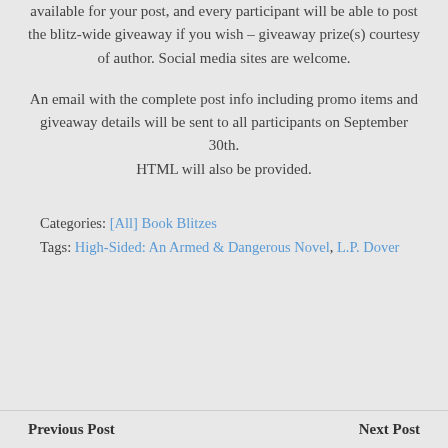available for your post, and every participant will be able to post the blitz-wide giveaway if you wish – giveaway prize(s) courtesy of author. Social media sites are welcome.
An email with the complete post info including promo items and giveaway details will be sent to all participants on September 30th. HTML will also be provided.
Categories: [All] Book Blitzes
Tags: High-Sided: An Armed & Dangerous Novel, L.P. Dover
Previous Post    Next Post